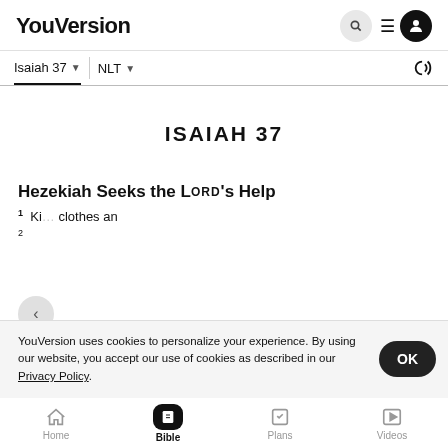YouVersion
Isaiah 37  ▾   NLT  ▾
ISAIAH 37
Hezekiah Seeks the Lord's Help
1  Ki... clothes an
YouVersion uses cookies to personalize your experience. By using our website, you accept our use of cookies as described in our Privacy Policy.
Home  Bible  Plans  Videos